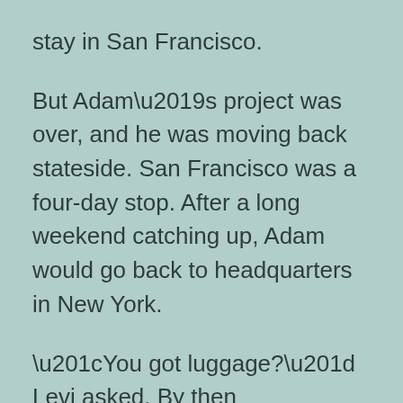stay in San Francisco.
But Adam’s project was over, and he was moving back stateside. San Francisco was a four-day stop. After a long weekend catching up, Adam would go back to headquarters in New York.
“You got luggage?” Levi asked. By then they’d begun walking.
Adam held up a small duffel Levi hadn’t noticed before. “If I need more clothes, I’ll stop by the hotel.”